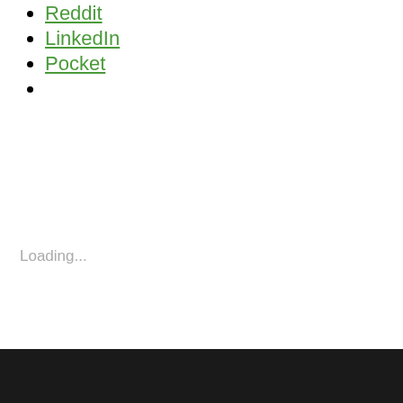Reddit
LinkedIn
Pocket
Loading...
2017 SUMMER MOVIES • ALEX KURTZMAN • ANNABELLE WALLIS • COURTNEY B. VANCE • DR. JEYKLL • JAKE JOHNSON • JAVIER BOTET • MOVIE TRAILERS • MOVIES • RUSSELL CROWE • THE MUMMY • THE MUMMY TRAILER • TOM CRUISE • UNIVERAL MONSTERS • UNIVERSAL MONSTERVERSE